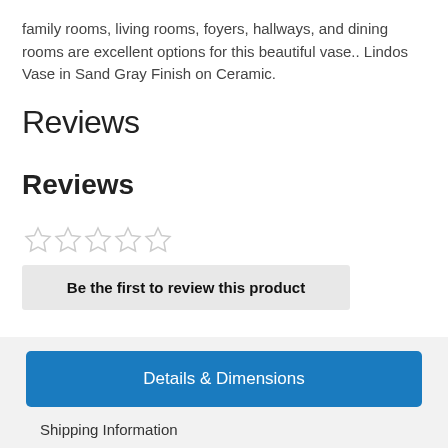family rooms, living rooms, foyers, hallways, and dining rooms are excellent options for this beautiful vase.. Lindos Vase in Sand Gray Finish on Ceramic.
Reviews
Reviews
[Figure (other): Five empty/outline star rating icons in gray]
Be the first to review this product
Details & Dimensions
Shipping Information